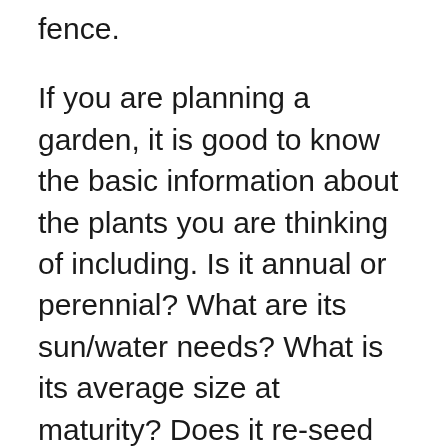fence.
If you are planning a garden, it is good to know the basic information about the plants you are thinking of including. Is it annual or perennial? What are its sun/water needs? What is its average size at maturity? Does it re-seed easily? Will it spread from the roots… (think Bermuda grass!)? Nurseries generally provide all of this information when you buy a plant, and of course there are any number of gardening guides where you can find that information, not to mention Google! Annuals are generally planted at the beginning of their growing season when they can put their full energy into vegetative